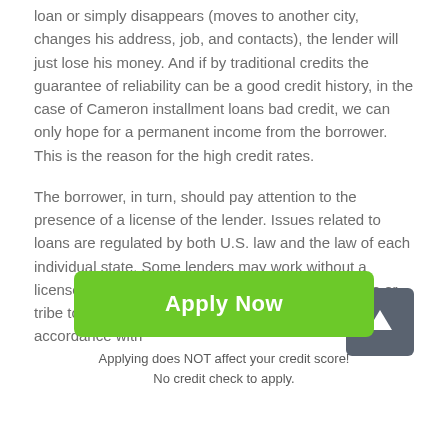loan or simply disappears (moves to another city, changes his address, job, and contacts), the lender will just lose his money. And if by traditional credits the guarantee of reliability can be a good credit history, in the case of Cameron installment loans bad credit, we can only hope for a permanent income from the borrower. This is the reason for the high credit rates.
The borrower, in turn, should pay attention to the presence of a license of the lender. Issues related to loans are regulated by both U.S. law and the law of each individual state. Some lenders may work without a license. How they must export the laws of their state or tribe to the in which they work. They usually act in accordance with
[Figure (other): Dark grey square button with white upward arrow icon, used as a scroll-to-top button]
Apply Now
Applying does NOT affect your credit score!
No credit check to apply.